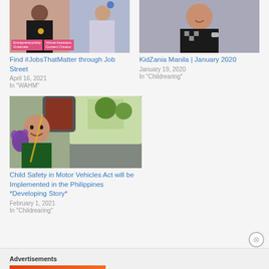[Figure (photo): Photo collage of two women, one with 'Entrepreneurship Graduate' label and one with 'Virtual Assistant, Content Creator' label]
Find #JobsThatMatter through Job Street
April 16, 2021
In "WAHM"
[Figure (photo): Photo of a young boy smiling, wearing a black checkered outfit]
KidZania Manila | January 2020
January 19, 2020
In "Childrearing"
[Figure (photo): Photo of a young boy in a car seat holding a purple fluffy toy, smiling]
Child Safety in Motor Vehicles Act will be Implemented in the Philippines *Developing Story*
February 1, 2021
In "Childrearing"
Advertisements